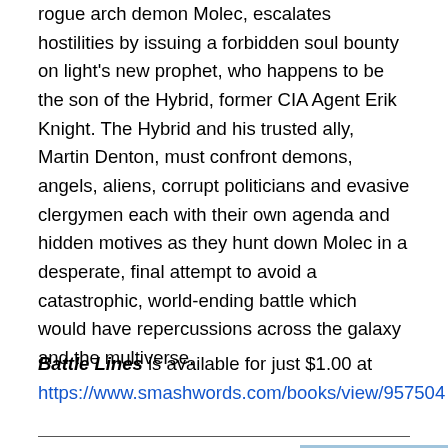rogue arch demon Molec, escalates hostilities by issuing a forbidden soul bounty on light's new prophet, who happens to be the son of the Hybrid, former CIA Agent Erik Knight. The Hybrid and his trusted ally, Martin Denton, must confront demons, angels, aliens, corrupt politicians and evasive clergymen each with their own agenda and hidden motives as they hunt down Molec in a desperate, final attempt to avoid a catastrophic, world-ending battle which would have repercussions across the galaxy and the multiverse.
Battle Lines is available for just $1.00 at https://www.smashwords.com/books/view/957504
Upstart Mystique is an exciting science fiction novel
[Figure (illustration): Science fiction illustration showing futuristic scene with flying vehicles and bright energy beams against a sky background]